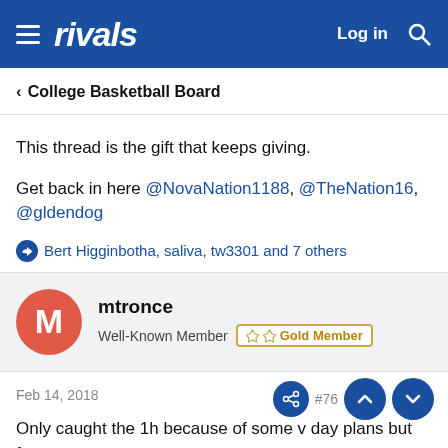rivals — Log in [search]
< College Basketball Board
This thread is the gift that keeps giving.
Get back in here @NovaNation1188, @TheNation16, @gldendog
👍 Bert Higginbotha, saliva, tw3301 and 7 others
mtronce
Well-Known Member  🛡 🛡 Gold Member
Feb 14, 2018
Only caught the 1h because of some v day plans but from